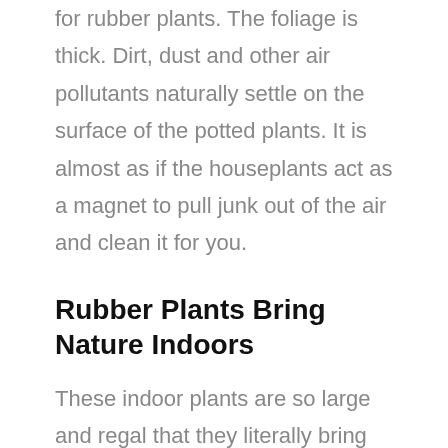for rubber plants. The foliage is thick. Dirt, dust and other air pollutants naturally settle on the surface of the potted plants. It is almost as if the houseplants act as a magnet to pull junk out of the air and clean it for you.
Rubber Plants Bring Nature Indoors
These indoor plants are so large and regal that they literally bring